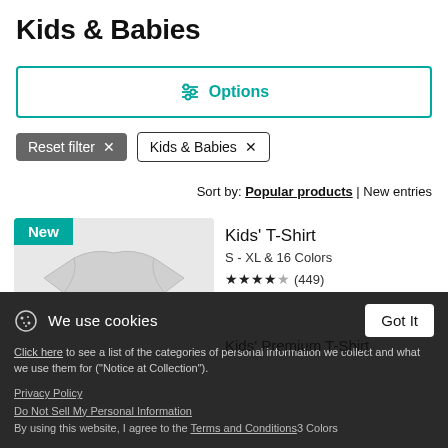Kids & Babies
[Figure (other): Options filter button with teal border and teal sliders icon]
Reset filter ×   Kids & Babies ×
Sort by: Popular products | New entries
[Figure (photo): Kids t-shirt product image (grey/white t-shirt) with New badge]
Kids' T-Shirt
S - XL & 16 Colors
★★★★☆ (449)
We use cookies   Got It
Click here to see a list of the categories of personal information we collect and what we use them for ("Notice at Collection").
Privacy Policy
Do Not Sell My Personal Information
By using this website, I agree to the Terms and Conditions
Kids' Premium T-Shirt
3 Colors